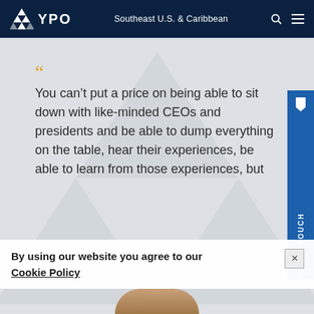YPO — Southeast U.S. & Caribbean
You can’t put a price on being able to sit down with like-minded CEOs and presidents and be able to dump everything on the table, hear their experiences, be able to learn from those experiences, but
GET IN TOUCH
By using our website you agree to our Cookie Policy